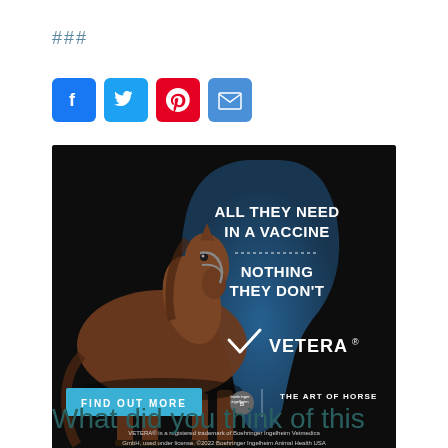###
[Figure (infographic): Social media icons: Facebook (blue), Twitter (light blue), Pinterest (red), Email (blue)]
[Figure (photo): Vetera vaccine advertisement featuring a horse on dark background with text: ALL THEY NEED IN A VACCINE / NOTHING THEY DON'T. Vetera logo and Boehringer Ingelheim branding. Find Out More button. THE ART OF HORSE tagline. Footer: VETERA is a registered trademark of Boehringer Ingelheim Vetmedica GmbH, used under license. 2022 Boehringer Ingelheim Animal Health USA Inc., Duluth, GA. All rights reserved. US-EQU-0116-2020-E-V2]
What did you think of this